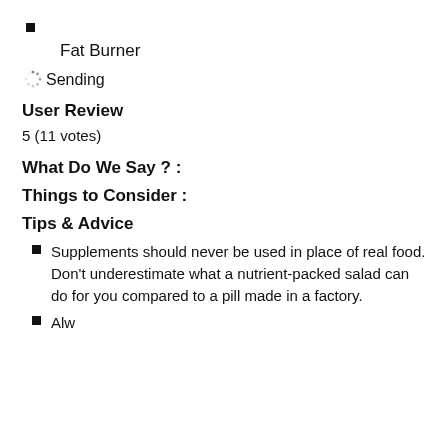■
Fat Burner
⟳ Sending
User Review
5 (11 votes)
What Do We Say ? :
Things to Consider :
Tips & Advice
Supplements should never be used in place of real food. Don't underestimate what a nutrient-packed salad can do for you compared to a pill made in a factory.
(partially visible)